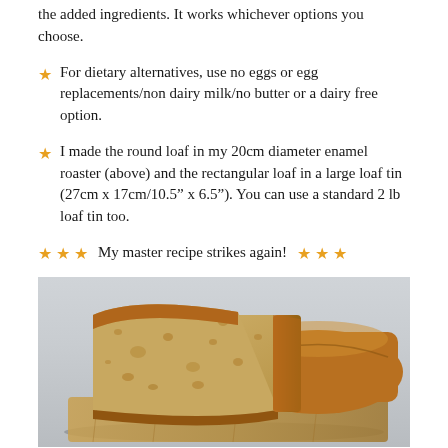...of your liking, and this is just one of the added ingredients. It works whichever options you choose.
For dietary alternatives, use no eggs or egg replacements/non dairy milk/no butter or a dairy free option.
I made the round loaf in my 20cm diameter enamel roaster (above) and the rectangular loaf in a large loaf tin (27cm x 17cm/10.5" x 6.5"). You can use a standard 2 lb loaf tin too.
My master recipe strikes again!
[Figure (photo): A close-up photo of a sliced loaf of bread showing the golden crust and interior crumb texture, placed on a wooden surface with a light grey background.]